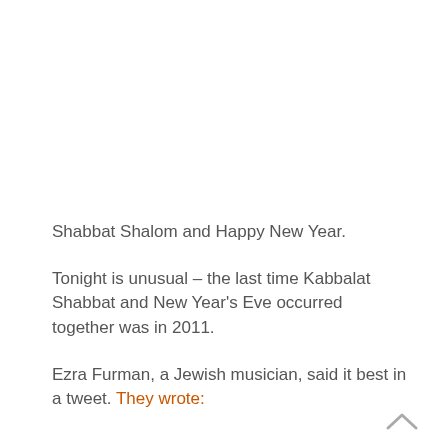Shabbat Shalom and Happy New Year.
Tonight is unusual – the last time Kabbalat Shabbat and New Year's Eve occurred together was in 2011.
Ezra Furman, a Jewish musician, said it best in a tweet. They wrote: